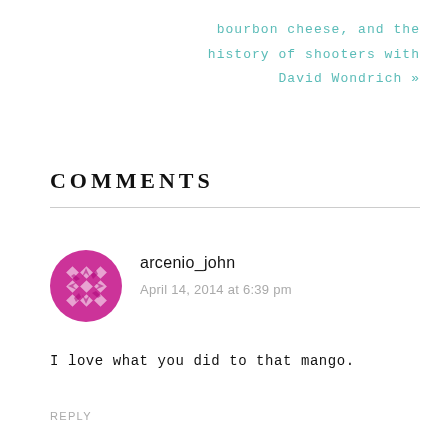bourbon cheese, and the history of shooters with David Wondrich »
COMMENTS
arcenio_john
April 14, 2014 at 6:39 pm
I love what you did to that mango.
REPLY